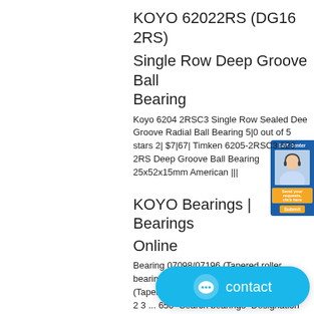KOYO 62022RS (DG16 2RS) Single Row Deep Groove Ball Bearing
Koyo 6204 2RSC3 Single Row Sealed Deep Groove Radial Ball Bearing 5|0 out of 5 stars 2| $7|67| Timken 6205-2RSC3 6205 2RS Deep Groove Ball Bearing 25x52x15mm American |||
KOYO Bearings | Bearings Online
Bearing 07098/07196 (Tapered roller bearings / KOYO) Bearing 07100/07196 (Tapered roller bearings / KOYO) Pages, 1 2 3 ... 650` Search bearings` Designation` Bore Dia ```
China NSK Angular Contact Bearings 35tac72b for CNC